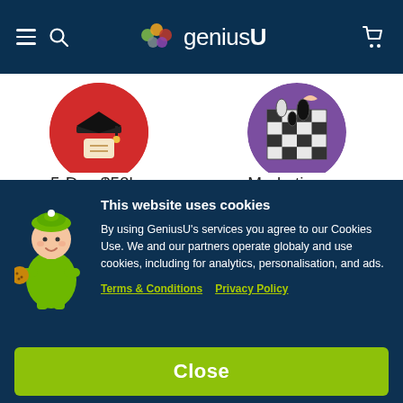geniusU
[Figure (illustration): Red circle illustration with graduation cap and diploma scroll]
5-Day $50k Global Entr
[Figure (illustration): Purple circle illustration with chess pieces on a chessboard]
Marketing 5.0 Registra
[Figure (illustration): Green cartoon mascot genie character holding a cookie]
This website uses cookies
By using GeniusU's services you agree to our Cookies Use. We and our partners operate globaly and use cookies, including for analytics, personalisation, and ads.
Terms & Conditions   Privacy Policy
Close